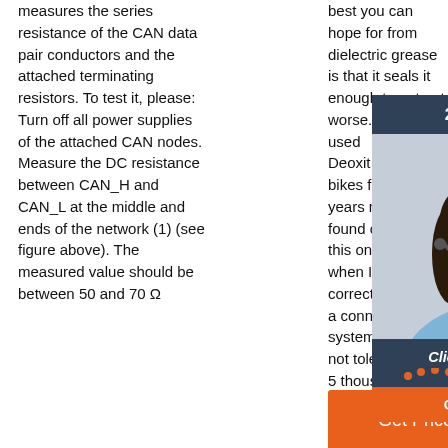measures the series resistance of the CAN data pair conductors and the attached terminating resistors. To test it, please: Turn off all power supplies of the attached CAN nodes. Measure the DC resistance between CAN_H and CAN_L at the middle and ends of the network (1) (see figure above). The measured value should be between 50 and 70 Ω
best you can hope for from dielectric grease is that it seals it enough to not get worse. I have used Deoxit on my bikes for many years now and found out about this one day when I was correcting a connector system that will not tolerate 5 thousandths of an ohm of resistance drift
[Figure (other): Chat support overlay panel with dark blue background, showing '24/7 Online' header, a photo of a smiling woman with headset, 'Click here for free chat!' text, and an orange QUOTATION button]
[Figure (other): Orange dots and TOP label indicating a 'back to top' navigation element]
[Figure (other): Orange 'Get Price' button]